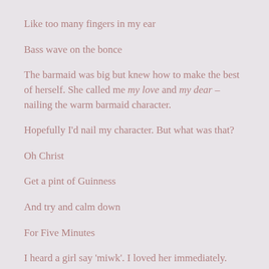Like too many fingers in my ear
Bass wave on the bonce
The barmaid was big but knew how to make the best of herself. She called me my love and my dear – nailing the warm barmaid character.
Hopefully I'd nail my character. But what was that?
Oh Christ
Get a pint of Guinness
And try and calm down
For Five Minutes
I heard a girl say 'miwk'. I loved her immediately.